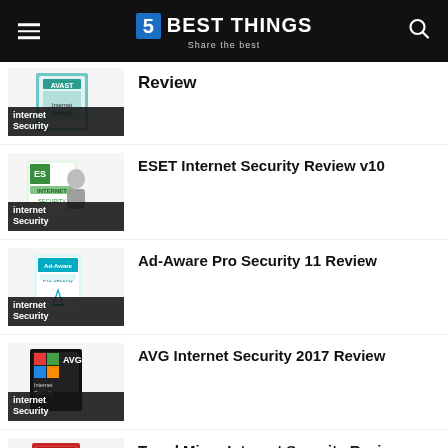5 BEST THINGS — Share the best
Review
internet Security
ESET Internet Security Review v10
internet Security
Ad-Aware Pro Security 11 Review
internet Security
AVG Internet Security 2017 Review
internet Security
Trend Micro Internet Security Review 2017